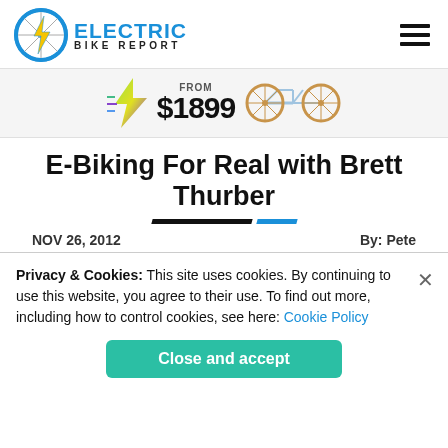Electric Bike Report
[Figure (logo): Electric Bike Report logo with lightning bolt wheel icon and blue ELECTRIC text]
[Figure (infographic): Advertisement banner showing lightning bolt graphic, FROM $1899 text, and two electric bicycle wheel images]
E-Biking For Real with Brett Thurber
NOV 26, 2012    By: Pete
Privacy & Cookies: This site uses cookies. By continuing to use this website, you agree to their use. To find out more, including how to control cookies, see here: Cookie Policy
Close and accept